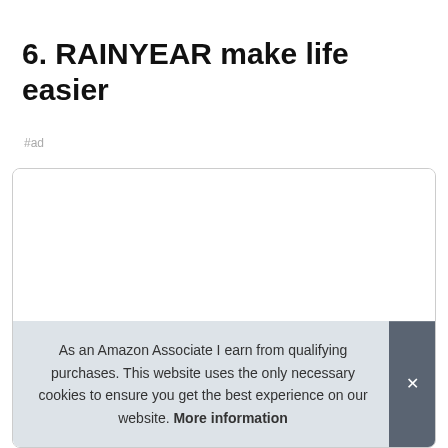6. RAINYEAR make life easier
#ad
[Figure (photo): Product card showing a dark-colored device/laptop case at the bottom portion, within a rounded border card.]
As an Amazon Associate I earn from qualifying purchases. This website uses the only necessary cookies to ensure you get the best experience on our website. More information